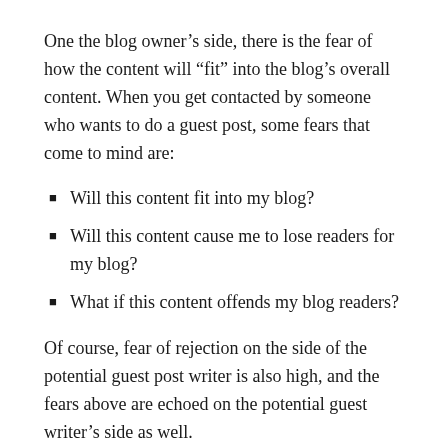One the blog owner’s side, there is the fear of how the content will “fit” into the blog’s overall content. When you get contacted by someone who wants to do a guest post, some fears that come to mind are:
Will this content fit into my blog?
Will this content cause me to lose readers for my blog?
What if this content offends my blog readers?
Of course, fear of rejection on the side of the potential guest post writer is also high, and the fears above are echoed on the potential guest writer’s side as well.
Strategies for Guest Posting Success
Guest posting is a form of marketing your blog. You should view guest posts in the same manner as you would submitting an article for publication in a magazine.